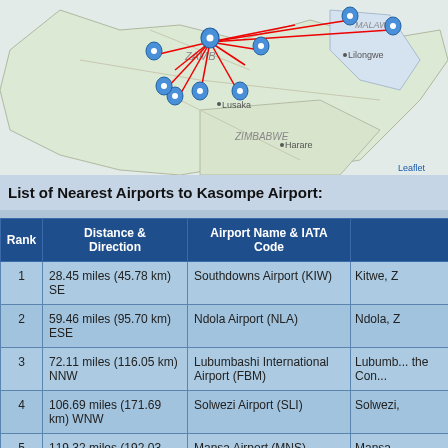[Figure (map): Map showing Kasompe Airport and surrounding region including Zambia, Malawi (Lilongwe), Zimbabwe (Harare), with blue location pins and red lines radiating from a central point near Lusaka. Leaflet attribution shown.]
List of Nearest Airports to Kasompe Airport:
| Rank | Distance & Direction | Airport Name & IATA Code |  |
| --- | --- | --- | --- |
| 1 | 28.45 miles (45.78 km) SE | Southdowns Airport (KIW) | Kitwe, Z |
| 2 | 59.46 miles (95.70 km) ESE | Ndola Airport (NLA) | Ndola, Z |
| 3 | 72.11 miles (116.05 km) NNW | Lubumbashi International Airport (FBM) | Lubumb... the Con... |
| 4 | 106.69 miles (171.69 km) WNW | Solwezi Airport (SLI) | Solwezi, |
| 5 | 119.32 miles (192.03 km) NE | Mansa Airport (MNS) | Mansa, |